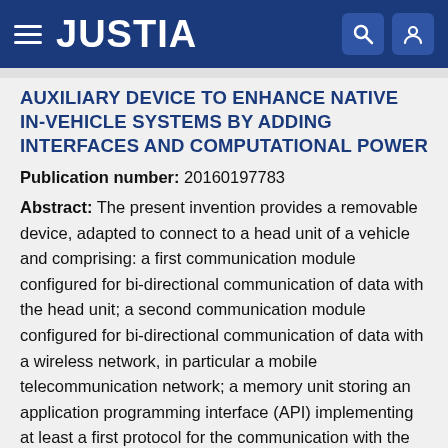JUSTIA
AUXILIARY DEVICE TO ENHANCE NATIVE IN-VEHICLE SYSTEMS BY ADDING INTERFACES AND COMPUTATIONAL POWER
Publication number: 20160197783
Abstract: The present invention provides a removable device, adapted to connect to a head unit of a vehicle and comprising: a first communication module configured for bi-directional communication of data with the head unit; a second communication module configured for bi-directional communication of data with a wireless network, in particular a mobile telecommunication network; a memory unit storing an application programming interface (API) implementing at least a first protocol for the communication with the head unit via the first communication module; and a control unit comprising at least one processing unit